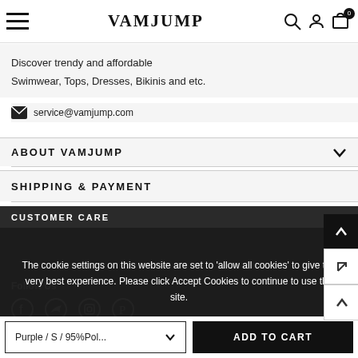VAMJUMP
Discover trendy and affordable
Swimwear, Tops, Dresses, Bikinis and etc.
service@vamjump.com
ABOUT VAMJUMP
SHIPPING & PAYMENT
CUSTOMER CARE
The cookie settings on this website are set to 'allow all cookies' to give the very best experience. Please click Accept Cookies to continue to use the site.
Follow Us
PRIVACY POLICY  ACCEPT ✔
Purple / S / 95%Pol...
ADD TO CART